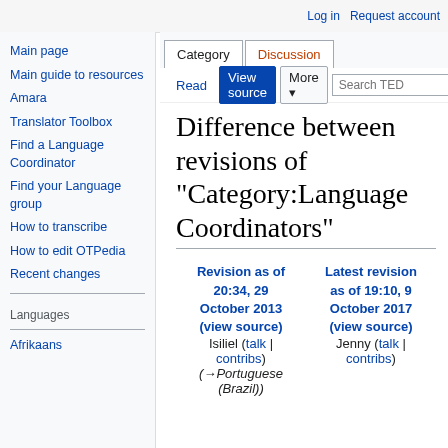Log in  Request account
Category | Discussion | Read | View source | More
Difference between revisions of "Category:Language Coordinators"
Main page
Main guide to resources
Amara
Translator Toolbox
Find a Language Coordinator
Find your Language group
How to transcribe
How to edit OTPedia
Recent changes
Languages
Afrikaans
| Revision as of 20:34, 29 October 2013 (view source) | Latest revision as of 19:10, 9 October 2017 (view source) |
| --- | --- |
| Isiliel (talk | contribs) | Jenny (talk | contribs) |
| (→Portuguese (Brazil)) |  |